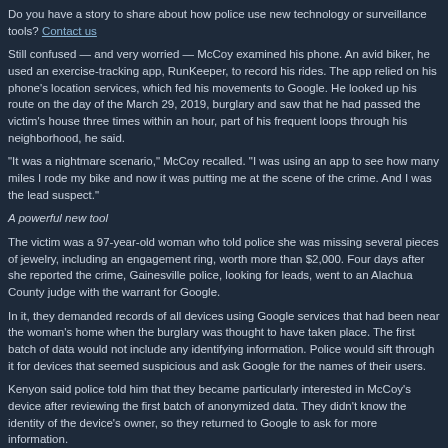Do you have a story to share about how police use new technology or surveillance tools? Contact us
Still confused — and very worried — McCoy examined his phone. An avid biker, he used an exercise-tracking app, RunKeeper, to record his rides. The app relied on his phone's location services, which fed his movements to Google. He looked up his route on the day of the March 29, 2019, burglary and saw that he had passed the victim's house three times within an hour, part of his frequent loops through his neighborhood, he said.
"It was a nightmare scenario," McCoy recalled. "I was using an app to see how many miles I rode my bike and now it was putting me at the scene of the crime. And I was the lead suspect."
A powerful new tool
The victim was a 97-year-old woman who told police she was missing several pieces of jewelry, including an engagement ring, worth more than $2,000. Four days after she reported the crime, Gainesville police, looking for leads, went to an Alachua County judge with the warrant for Google.
In it, they demanded records of all devices using Google services that had been near the woman's home when the burglary was thought to have taken place. The first batch of data would not include any identifying information. Police would sift through it for devices that seemed suspicious and ask Google for the names of their users.
Kenyon said police told him that they became particularly interested in McCoy's device after reviewing the first batch of anonymized data. They didn't know the identity of the device's owner, so they returned to Google to ask for more information.
McCoy made frequent loops through his neighborhood on his bike.Agnes Lopez / for NBC News
That request triggered the Jan. 14 notice the technology giant sent to McCoy, part of its general policy on notifying users about government requests for their information. The notice was McCoy's only indication that police wanted his data.
Gainesville police declined to comment.
While privacy and civil liberties advocates have been concerned that geofence warrants